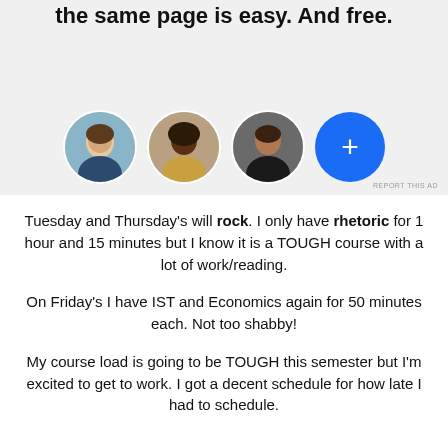[Figure (other): Advertisement banner with bold text 'the same page is easy. And free.' and three circular profile photo avatars and one blue plus button circle]
Tuesday and Thursday's will rock. I only have rhetoric for 1 hour and 15 minutes but I know it is a TOUGH course with a lot of work/reading.
On Friday's I have IST and Economics again for 50 minutes each. Not too shabby!
My course load is going to be TOUGH this semester but I'm excited to get to work. I got a decent schedule for how late I had to schedule.